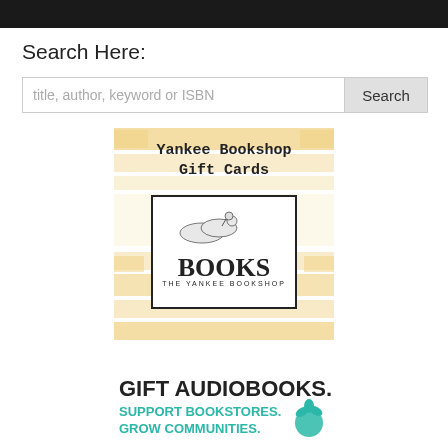[Figure (photo): Dark/black top image strip at top of page]
Search Here:
[Figure (screenshot): Search input box with placeholder 'title, author, keyword or ISBN' and a Search button]
[Figure (illustration): Yankee Bookshop Gift Cards promotional banner with gold stripes and The Yankee Bookshop BOOKS logo in a box]
[Figure (illustration): GIFT AUDIOBOOKS. SUPPORT BOOKSTORES. GROW COMMUNITIES. promotional banner with teal flower/plant graphic]